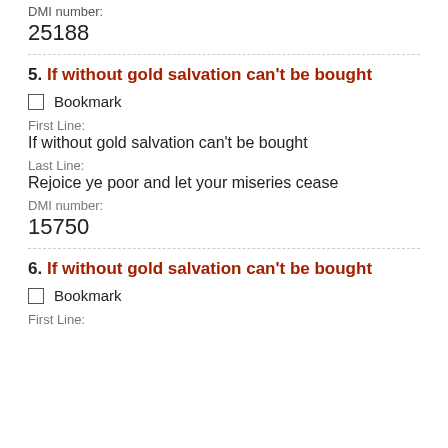DMI number:
25188
5. If without gold salvation can't be bought
Bookmark
First Line:
If without gold salvation can't be bought
Last Line:
Rejoice ye poor and let your miseries cease
DMI number:
15750
6. If without gold salvation can't be bought
Bookmark
First Line: